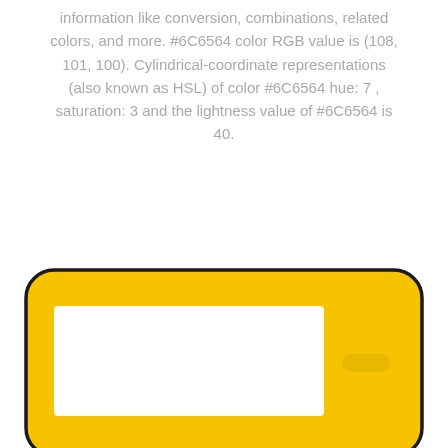information like conversion, combinations, related colors, and more. #6C6564 color RGB value is (108, 101, 100). Cylindrical-coordinate representations (also known as HSL) of color #6C6564 hue: 7 , saturation: 3 and the lightness value of #6C6564 is 40.
[Figure (illustration): A yellow rounded rectangle UI element (like a license plate or card widget) with a white rectangular input area on the left and a small pill-shaped button on the right, outlined in dark border.]